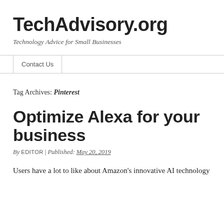TechAdvisory.org
Technology Advice for Small Businesses
Contact Us
Tag Archives: Pinterest
Optimize Alexa for your business
By EDITOR | Published: MAY 20, 2019
Users have a lot to like about Amazon’s innovative AI technology